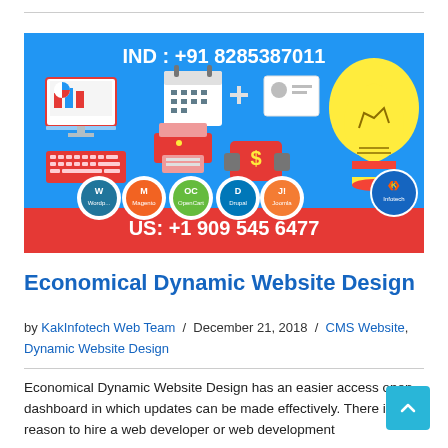[Figure (infographic): KakInfotech web design promotional banner with blue background showing web/tech icons (monitor with charts, calendar, ID card, lightbulb, keyboard, printer, dollar sign, CMS logos: WordPress, Magento, OpenCart, Drupal, Joomla), phone numbers IND: +91 8285387011 and US: +1 909 545 6477 on red bottom bar, KakInfotech logo on right.]
Economical Dynamic Website Design
by KakInfotech Web Team / December 21, 2018 / CMS Website, Dynamic Website Design
Economical Dynamic Website Design has an easier access open dashboard in which updates can be made effectively. There is no reason to hire a web developer or web development